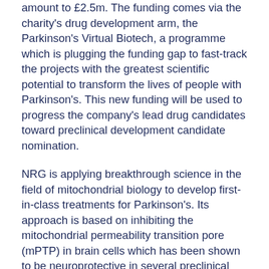amount to £2.5m. The funding comes via the charity's drug development arm, the Parkinson's Virtual Biotech, a programme which is plugging the funding gap to fast-track the projects with the greatest scientific potential to transform the lives of people with Parkinson's. This new funding will be used to progress the company's lead drug candidates toward preclinical development candidate nomination.
NRG is applying breakthrough science in the field of mitochondrial biology to develop first-in-class treatments for Parkinson's. Its approach is based on inhibiting the mitochondrial permeability transition pore (mPTP) in brain cells which has been shown to be neuroprotective in several preclinical models of Parkinson's and other neurodegenerative diseases.
NRG Therapeutics' co-founder and CEO Dr Neil Miller said, "Discovering our lead drug candidate would not have been possible without Parkinson's UK support. We are delighted to receive further